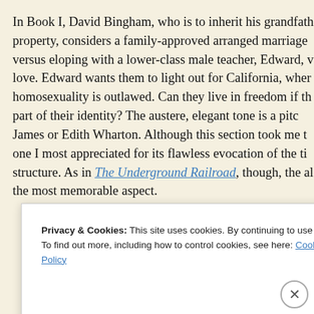In Book I, David Bingham, who is to inherit his grandfather's property, considers a family-approved arranged marriage versus eloping with a lower-class male teacher, Edward, whom he loves. Edward wants them to light out for California, where homosexuality is outlawed. Can they live in freedom if they hide part of their identity? The austere, elegant tone is a pitch-perfect evocation of Henry James or Edith Wharton. Although this section took me the longest, it was the one I most appreciated for its flawless evocation of the time period's structure. As in The Underground Railroad, though, the alternating structure is the most memorable aspect.
Privacy & Cookies: This site uses cookies. By continuing to use this website, you agree to their use.
To find out more, including how to control cookies, see here: Cookie Policy